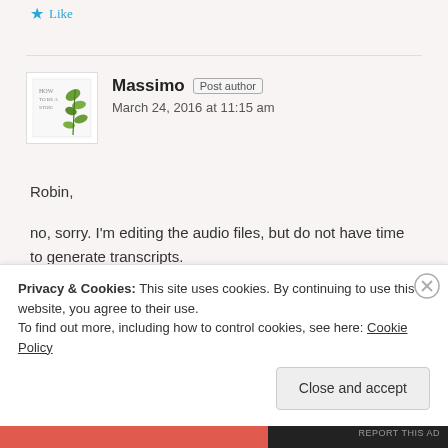★ Like
[Figure (illustration): Book cover thumbnail for 'How to be a Stoic' with green leaf design]
Massimo Post author
March 24, 2016 at 11:15 am
Robin,
no, sorry. I'm editing the audio files, but do not have time to generate transcripts.
★ Like
Privacy & Cookies: This site uses cookies. By continuing to use this website, you agree to their use.
To find out more, including how to control cookies, see here: Cookie Policy
Close and accept